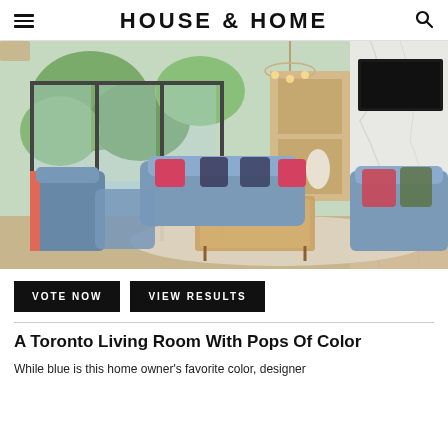HOUSE & HOME
[Figure (photo): Interior photo of a Toronto living room featuring blue upholstered sofas and chairs with coral/pink accents and colorful pillows, a wooden coffee table, large glass sliding doors overlooking a pool and trees, a marble fireplace, and a wall-mounted TV.]
VOTE NOW
VIEW RESULTS
A Toronto Living Room With Pops Of Color
While blue is this home owner's favorite color, designer